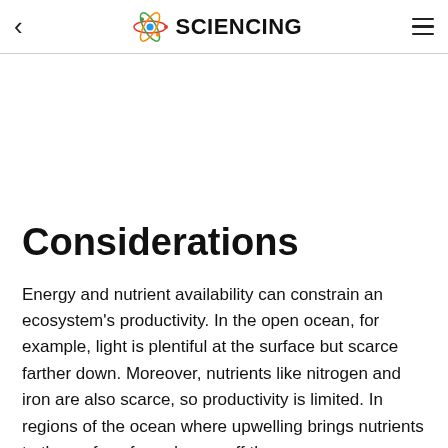< SCIENCING ≡
Considerations
Energy and nutrient availability can constrain an ecosystem's productivity. In the open ocean, for example, light is plentiful at the surface but scarce farther down. Moreover, nutrients like nitrogen and iron are also scarce, so productivity is limited. In regions of the ocean where upwelling brings nutrients to the surface from deeper off the